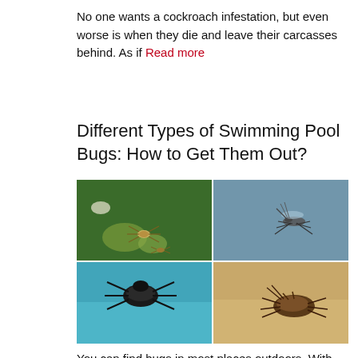No one wants a cockroach infestation, but even worse is when they die and leave their carcasses behind. As if Read more
Different Types of Swimming Pool Bugs: How to Get Them Out?
[Figure (photo): Four-panel collage of swimming pool bugs: top-left shows small bugs on green algae water surface, top-right shows a mosquito or similar insect on water surface from above, bottom-left shows a dark water boatman or similar bug on blue water, bottom-right shows a brown insect on sandy/tan colored water surface.]
You can find bugs in most places outdoors. With certain exceptions, bugs tend to stay out of your way. However, Read more